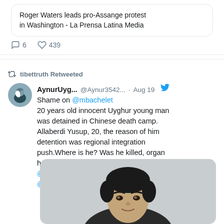Roger Waters leads pro-Assange protest in Washington - La Prensa Latina Media
6  439
tibettruth Retweeted
AynurUyg... @Aynur3542... · Aug 19
Shame on @mbachelet
20 years old innocent Uyghur young man was detained in Chinese death camp. Allaberdi Yusup, 20, the reason of him detention was regional integration push.Where is he? Was he killed, organ harvested or became slave in a factor?
@IntlCrimCourt
@UNHumanRights
[Figure (photo): Portrait photo of a young Asian man with dark hair against a light background]